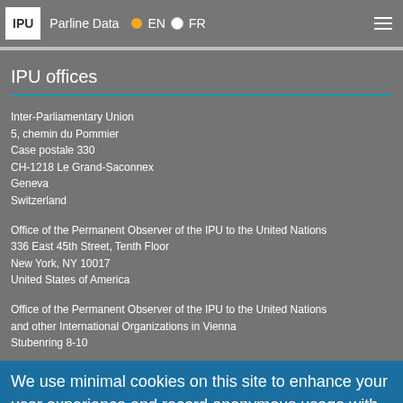IPU   Parline Data   EN   FR
IPU offices
Inter-Parliamentary Union
5, chemin du Pommier
Case postale 330
CH-1218 Le Grand-Saconnex
Geneva
Switzerland
Office of the Permanent Observer of the IPU to the United Nations
336 East 45th Street, Tenth Floor
New York, NY 10017
United States of America
Office of the Permanent Observer of the IPU to the United Nations and other International Organizations in Vienna
Stubenring 8-10
We use minimal cookies on this site to enhance your user experience and record anonymous usage with Google Analytics